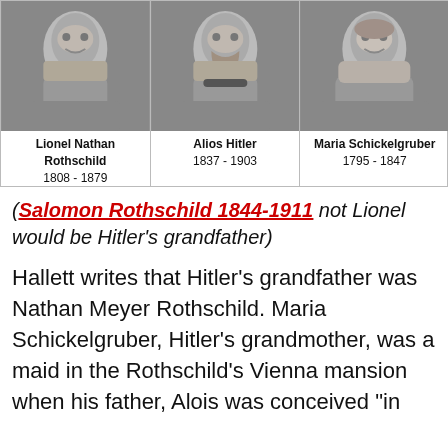[Figure (photo): Three black-and-white portrait photographs side by side: Lionel Nathan Rothschild (1808-1879), Alios Hitler (1837-1903), and Maria Schickelgruber (1795-1847)]
Lionel Nathan Rothschild 1808 - 1879 | Alios Hitler 1837 - 1903 | Maria Schickelgruber 1795 - 1847
(Salomon Rothschild 1844-1911 not Lionel would be Hitler's grandfather)
Hallett writes that Hitler's grandfather was Nathan Meyer Rothschild. Maria Schickelgruber, Hitler's grandmother, was a maid in the Rothschild's Vienna mansion when his father, Alois was conceived "in